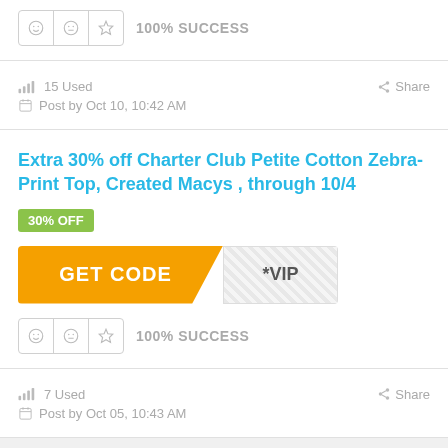[Figure (other): Rating icons row with smiley, neutral face, star icons and 100% SUCCESS text]
15 Used
Share
Post by Oct 10, 10:42 AM
Extra 30% off Charter Club Petite Cotton Zebra-Print Top, Created Macys , through 10/4
30% OFF
[Figure (other): GET CODE button in orange with diagonal cut and hatched VIP code area]
[Figure (other): Rating icons row with smiley, neutral face, star icons and 100% SUCCESS text]
7 Used
Share
Post by Oct 05, 10:43 AM